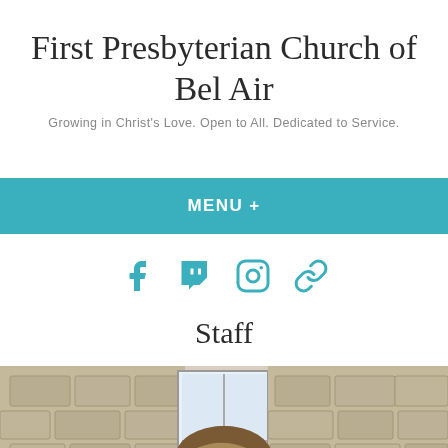First Presbyterian Church of Bel Air
Growing in Christ's Love. Open to All. Dedicated to Service.
MENU +
[Figure (other): Social media icons: Facebook, Twitch, Instagram, and a link icon, all in teal color]
Staff
[Figure (photo): A woman with long brown hair standing in front of a stone wall building with a window visible in the background]